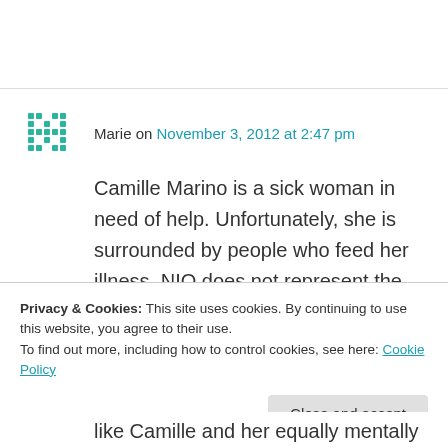Marie on November 3, 2012 at 2:47 pm
Camille Marino is a sick woman in need of help. Unfortunately, she is surrounded by people who feed her illness. NIO does not represent the average animal activist. It has become a mockery of what it once was, thanks to bad leadership. Ms. Marino's so called friends and
Privacy & Cookies: This site uses cookies. By continuing to use this website, you agree to their use. To find out more, including how to control cookies, see here: Cookie Policy
like Camille and her equally mentally ill cronies,